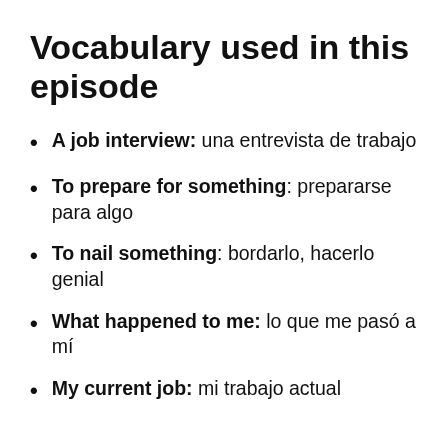Vocabulary used in this episode
A job interview: una entrevista de trabajo
To prepare for something: prepararse para algo
To nail something: bordarlo, hacerlo genial
What happened to me: lo que me pasó a mí
My current job: mi trabajo actual